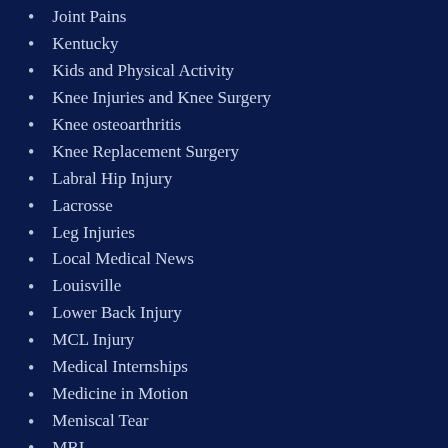Joint Pains
Kentucky
Kids and Physical Activity
Knee Injuries and Knee Surgery
Knee osteoarthritis
Knee Replacement Surgery
Labral Hip Injury
Lacrosse
Leg Injuries
Local Medical News
Louisville
Lower Back Injury
MCL Injury
Medical Internships
Medicine in Motion
Meniscal Tear
MRI
Orthobiologics
Orthopaedic Specialists